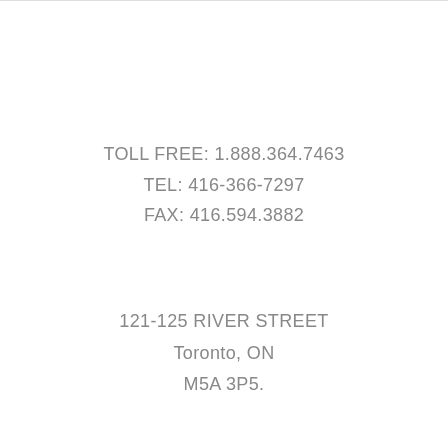TOLL FREE: 1.888.364.7463
TEL: 416-366-7297
FAX: 416.594.3882
121-125 RIVER STREET
Toronto, ON
M5A 3P5.